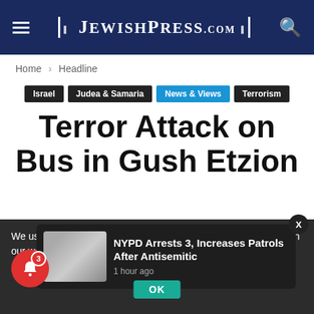JewishPress.com
Home › Headline
Israel | Judea & Samaria | News & Views | Terrorism
Terror Attack on Bus in Gush Etzion
By Jewish Press News Desk - 28 Adar II 5782 – March 31, 2022  0
We use cookies to ensure that we give you the best experience on our website. If yo
NYPD Arrests 3, Increases Patrols After Antisemitic
1 hour ago
OK